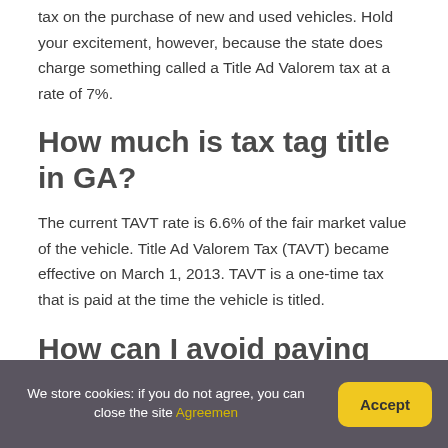tax on the purchase of new and used vehicles. Hold your excitement, however, because the state does charge something called a Title Ad Valorem tax at a rate of 7%.
How much is tax tag title in GA?
The current TAVT rate is 6.6% of the fair market value of the vehicle. Title Ad Valorem Tax (TAVT) became effective on March 1, 2013. TAVT is a one-time tax that is paid at the time the vehicle is titled.
How can I avoid paying
We store cookies: if you do not agree, you can close the site Agreemen
Accept